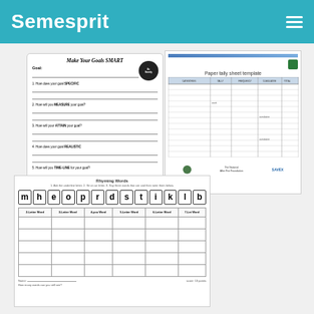Semesprit
[Figure (other): Make Your Goals SMART worksheet with sections for Specific, Measurable, Attain, Realistic, Timely goals and a website URL]
[Figure (table-as-image): Paper tally sheet template with grid rows and columns, logos at bottom]
[Figure (other): Rhyming Words activity sheet with letter boxes m h e o p r d s t i k l b and a 6-column word sorting table]